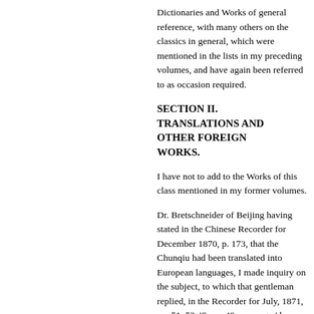Dictionaries and Works of general reference, with many others on the classics in general, which were mentioned in the lists in my preceding volumes, and have again been referred to as occasion required.
SECTION II. TRANSLATIONS AND OTHER FOREIGN WORKS.
I have not to add to the Works of this class mentioned in my former volumes.
Dr. Bretschneider of Beijing having stated in the Chinese Recorder for December 1870, p. 173, that the Chunqiu had been translated into European languages, I made inquiry on the subject, to which that gentleman replied, in the Recorder for July, 1871, pp. 51, 52. 'Some 40 years ago,' he says, 'Father Daniel, of the